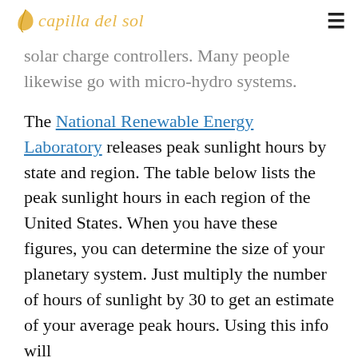capilla del sol
solar charge controllers. Many people likewise go with micro-hydro systems.
The National Renewable Energy Laboratory releases peak sunlight hours by state and region. The table below lists the peak sunlight hours in each region of the United States. When you have these figures, you can determine the size of your planetary system. Just multiply the number of hours of sunlight by 30 to get an estimate of your average peak hours. Using this info will